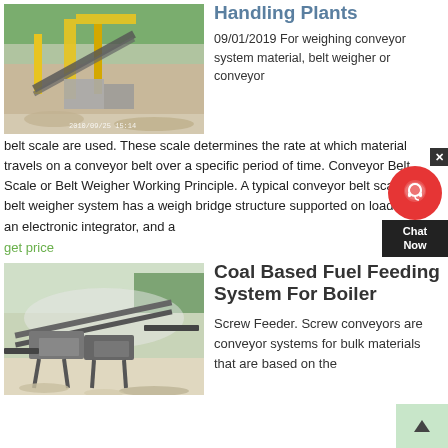[Figure (photo): Mining/quarry site with yellow heavy machinery and conveyor equipment on rocky terrain with a timestamp 2010/09/25 15:14]
Handling Plants
09/01/2019 For weighing conveyor system material, belt weigher or conveyor belt scale are used. These scale determines the rate at which material travels on a conveyor belt over a specific period of time. Conveyor Belt Scale or Belt Weigher Working Principle. A typical conveyor belt scale or belt weigher system has a weigh bridge structure supported on load cells, an electronic integrator, and a
get price
[Figure (photo): Industrial aggregate/mineral processing plant with conveyor belts and screening equipment at an outdoor quarry site]
Coal Based Fuel Feeding System For Boiler
Screw Feeder. Screw conveyors are conveyor systems for bulk materials that are based on the